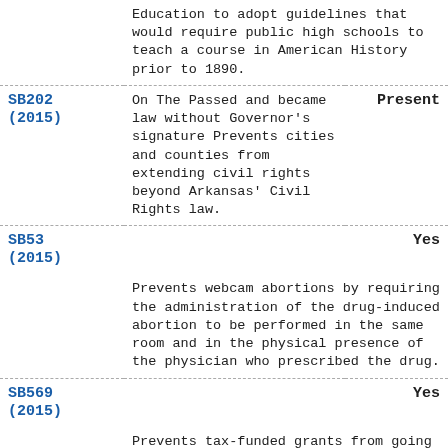| Bill | Description | Vote |
| --- | --- | --- |
|  | Education to adopt guidelines that would require public high schools to teach a course in American History prior to 1890. |  |
| SB202 (2015) | On The Passed and became law without Governor's signature Prevents cities and counties from extending civil rights beyond Arkansas' Civil Rights law. | Present |
| SB53 (2015) | Prevents webcam abortions by requiring the administration of the drug-induced abortion to be performed in the same room and in the physical presence of the physician who prescribed the drug. | Yes |
| SB569 (2015) | Prevents tax-funded grants from going to organizations in | Yes |